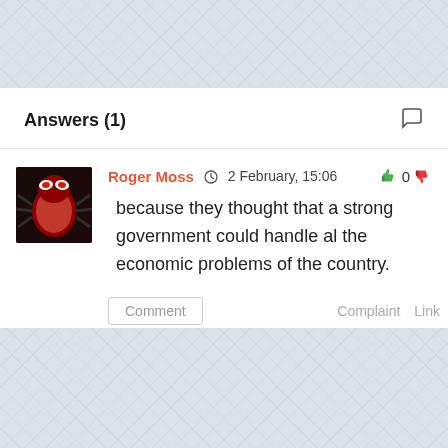Answers (1)
Roger Moss  🕐 2 February, 15:06   👍 0 👎
because they thought that a strong government could handle al the economic problems of the country.
Comment   Complaint   Link